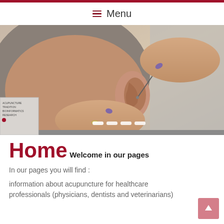Menu
[Figure (photo): Close-up photo of a person receiving ear acupuncture treatment, with a practitioner's hand inserting a needle into the ear. A small product thumbnail is visible in the bottom-left corner.]
Home
Welcome in our pages
In our pages you will find :
information about acupuncture for healthcare professionals (physicians, dentists and veterinarians)